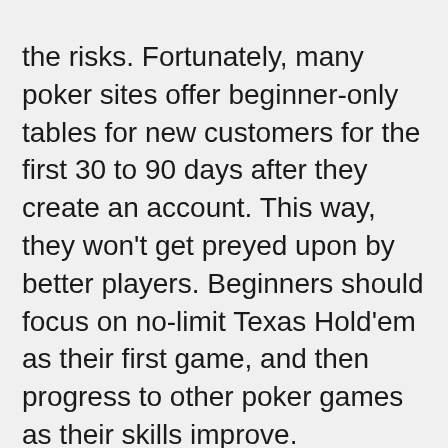the risks. Fortunately, many poker sites offer beginner-only tables for new customers for the first 30 to 90 days after they create an account. This way, they won't get preyed upon by better players. Beginners should focus on no-limit Texas Hold'em as their first game, and then progress to other poker games as their skills improve.
As with any game of skill, learning how to play poker requires dedication. Whether you're playing at a live casino or online, you'll need a lot of practice time. Be sure to sign up for poker training sites and network with other successful players to improve your game. Also, make sure to prioritize your health and safety and avoid spending excessive amounts of money.
The internet has created a world of poker opportunities that were previously impossible to find offline. Today, fifteen million people play online